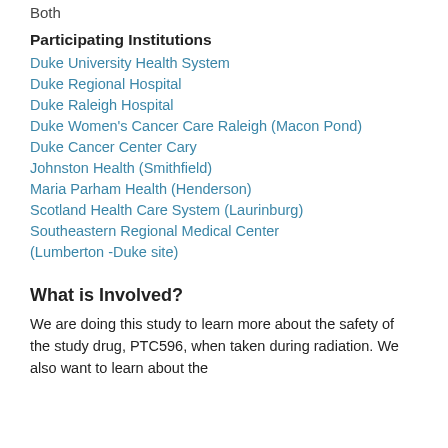Both
Participating Institutions
Duke University Health System
Duke Regional Hospital
Duke Raleigh Hospital
Duke Women's Cancer Care Raleigh (Macon Pond)
Duke Cancer Center Cary
Johnston Health (Smithfield)
Maria Parham Health (Henderson)
Scotland Health Care System (Laurinburg)
Southeastern Regional Medical Center (Lumberton -Duke site)
What is Involved?
We are doing this study to learn more about the safety of the study drug, PTC596, when taken during radiation. We also want to learn about the